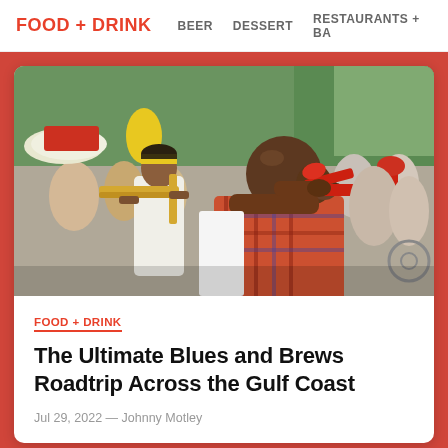FOOD + DRINK   BEER   DESSERT   RESTAURANTS + BA
[Figure (photo): Two musicians playing brass instruments (trumpet and trombone) in a crowded outdoor street festival setting. The trumpet player in the foreground wears an orange/red plaid shirt and plays a red trumpet. Behind him, a trombone player in a white shirt plays a gold trombone. A crowd of people and colorful banners/umbrellas are visible in the background with green trees.]
FOOD + DRINK
The Ultimate Blues and Brews Roadtrip Across the Gulf Coast
Jul 29, 2022 — Johnny Motley